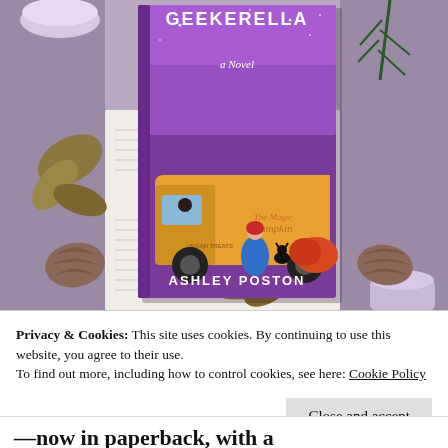[Figure (photo): A flatlay photo showing a book titled 'Geekerella: A Novel' by Ashley Poston. The cover features an orange food truck labeled 'The Magic Pumpkin - Vegan Treats' with a woman in a blue dress and a black cat beside a pumpkin, on a purple starry background. The book is surrounded by pine cones, dried leaves, a lavender candle, a small plant, and open book pages on a muted purple background.]
Privacy & Cookies: This site uses cookies. By continuing to use this website, you agree to their use.
To find out more, including how to control cookies, see here: Cookie Policy
Close and accept
—now in paperback, with a